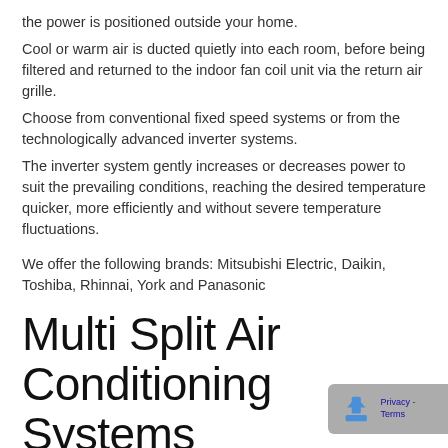the power is positioned outside your home.
Cool or warm air is ducted quietly into each room, before being filtered and returned to the indoor fan coil unit via the return air grille.
Choose from conventional fixed speed systems or from the technologically advanced inverter systems.
The inverter system gently increases or decreases power to suit the prevailing conditions, reaching the desired temperature quicker, more efficiently and without severe temperature fluctuations.
We offer the following brands: Mitsubishi Electric, Daikin, Toshiba, Rhinnai, York and Panasonic
Multi Split Air Conditioning Systems
For greater versatility, our inverter multi-split system mo...